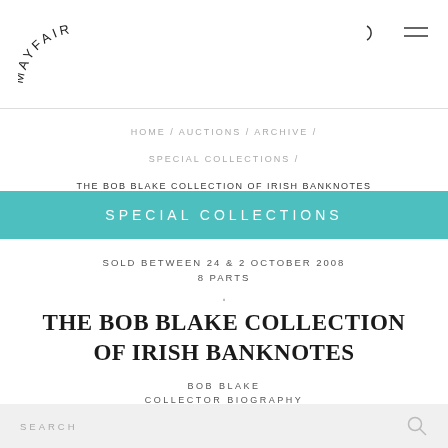MAYFAIR
HOME / AUCTIONS / ARCHIVE / SPECIAL COLLECTIONS /
THE BOB BLAKE COLLECTION OF IRISH BANKNOTES
SPECIAL COLLECTIONS
SOLD BETWEEN 24 & 2 OCTOBER 2008
8 PARTS
THE BOB BLAKE COLLECTION OF IRISH BANKNOTES
BOB BLAKE
COLLECTOR BIOGRAPHY
SEARCH